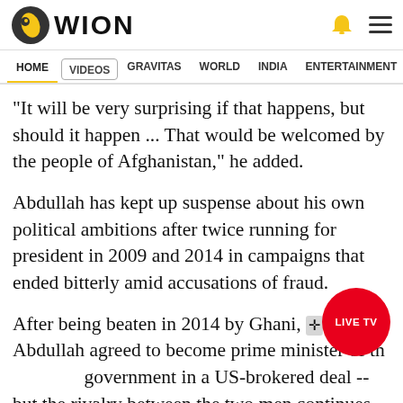WION
HOME  VIDEOS  GRAVITAS  WORLD  INDIA  ENTERTAINMENT  SPORTS
"It will be very surprising if that happens, but should it happen ... That would be welcomed by the people of Afghanistan," he added.
Abdullah has kept up suspense about his own political ambitions after twice running for president in 2009 and 2014 in campaigns that ended bitterly amid accusations of fraud.
After being beaten in 2014 by Ghani, Abdullah agreed to become prime minister of the government in a US-brokered deal -- but the rivalry between the two men continues.